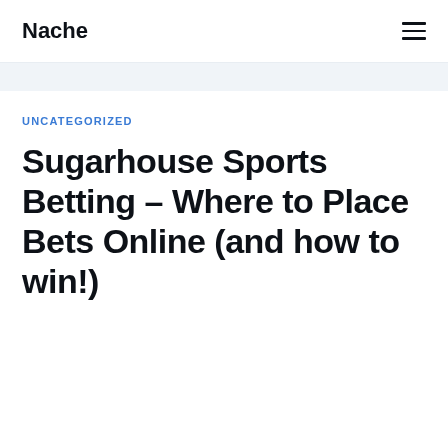Nache
UNCATEGORIZED
Sugarhouse Sports Betting – Where to Place Bets Online (and how to win!)